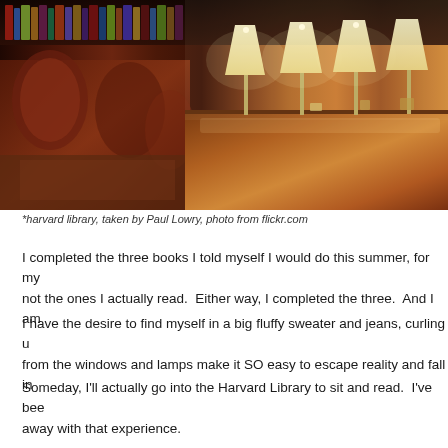[Figure (photo): Interior of Harvard Library with long wooden reading tables, lamp rows, leather chairs, and bookshelves in warm amber lighting]
*harvard library, taken by Paul Lowry, photo from flickr.com
I completed the three books I told myself I would do this summer, for my not the ones I actually read.  Either way, I completed the three.  And I am
I have the desire to find myself in a big fluffy sweater and jeans, curling u from the windows and lamps make it SO easy to escape reality and fall in
Someday, I'll actually go into the Harvard Library to sit and read.  I've bee away with that experience.